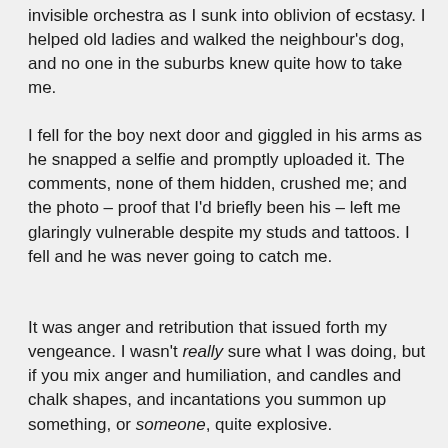invisible orchestra as I sunk into oblivion of ecstasy. I helped old ladies and walked the neighbour's dog, and no one in the suburbs knew quite how to take me.
I fell for the boy next door and giggled in his arms as he snapped a selfie and promptly uploaded it. The comments, none of them hidden, crushed me; and the photo – proof that I'd briefly been his – left me glaringly vulnerable despite my studs and tattoos. I fell and he was never going to catch me.
It was anger and retribution that issued forth my vengeance. I wasn't really sure what I was doing, but if you mix anger and humiliation, and candles and chalk shapes, and incantations you summon up something, or someone, quite explosive.
I don't think I actually meant it either, invoking blood and guts and gore wasn't really my thing. The flames of hell enveloped him and that photo of us became the least of his concerns.